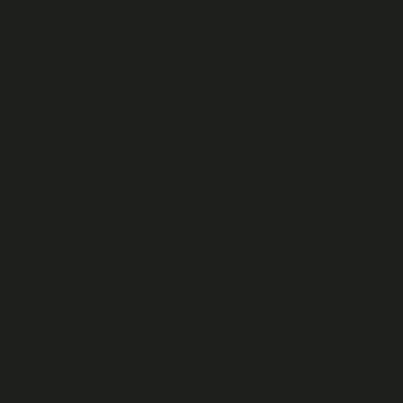[Figure (photo): A nearly uniform dark background page, very dark grayish-black color with slight texture variation, no visible text or other content.]